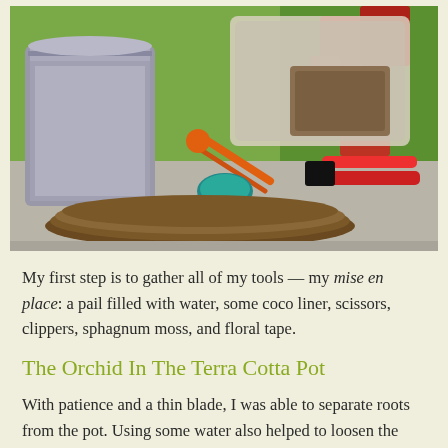[Figure (photo): Gardening tools arranged on a concrete surface outdoors: a galvanized metal pail, a bag of sphagnum moss, orange-handled scissors, red-handled clippers, a teal lid, and brown coco liner mats. Green and red tropical foliage visible in the background.]
My first step is to gather all of my tools — my mise en place: a pail filled with water, some coco liner, scissors, clippers, sphagnum moss, and floral tape.
The Orchid In The Terra Cotta Pot
With patience and a thin blade, I was able to separate roots from the pot. Using some water also helped to loosen the roots. Meanwhile, I cut a triangle of coco liner